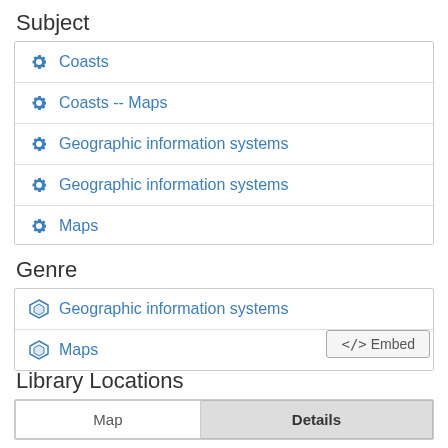Subject
Coasts
Coasts -- Maps
Geographic information systems
Geographic information systems
Maps
Genre
Geographic information systems
Maps
</> Embed
Library Locations
| Map | Details |
| --- | --- |